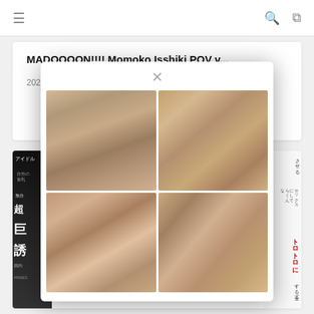≡  🔍  ✕
MADOOOON!!!! Momoko Isshiki POV v...
2022-04-05
[Figure (screenshot): Modal dialog with grid of four thumbnail images, with an X close button at top center]